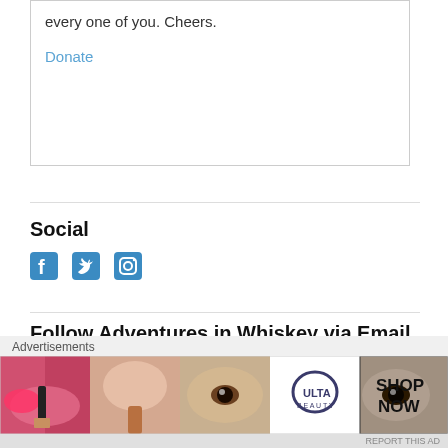every one of you. Cheers.
Donate
Social
[Figure (infographic): Social media icons: Facebook, Twitter, Instagram in blue]
Follow Adventures in Whiskey via Email
Enter your email address to follow Adventures in Whiskey and receive notifications of new posts by email.
Email Address
[Figure (infographic): Circled X close button]
Advertisements
[Figure (photo): Ulta Beauty advertisement banner showing beauty/makeup imagery with SHOP NOW text]